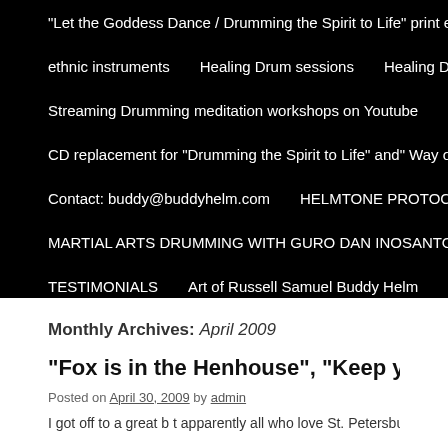“Let the Goddess Dance / Drumming the Spirit to Life” print ebook and
ethnic instruments   Healing Drum sessions   Healing Drum Temple
Streaming Drumming meditation workshops on Youtube   Dolphin full
CD replacement for “Drumming the Spirit to Life” and” Way of the Drum
Contact: buddy@buddyhelm.com   HELMTONE PROTOCOLS ENRO
MARTIAL ARTS DRUMMING WITH GURO DAN INOSANTO CD   Ab
TESTIMONIALS   Art of Russell Samuel Buddy Helm   Drums and D
Monthly Archives: April 2009
“Fox is in the Henhouse”, “Keep yer Groo St. Petersburg, FL
Posted on April 30, 2009 by admin
I got off to a great b t apparently all who love St. Petersburg. FL. A